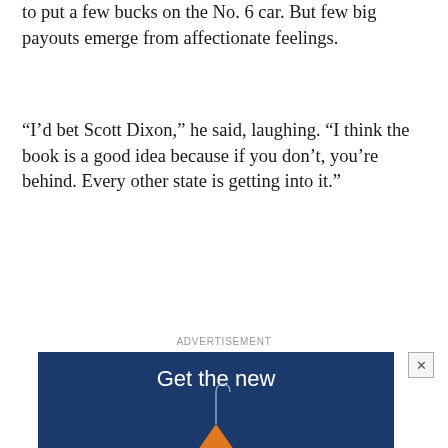to put a few bucks on the No. 6 car. But few big payouts emerge from affectionate feelings.
“I’d bet Scott Dixon,” he said, laughing. “I think the book is a good idea because if you don’t, you’re behind. Every other state is getting into it.”
ADVERTISEMENT
[Figure (infographic): Advertisement with dark blue background showing text 'Get the new' and an orange Christmas tree ornament graphic hanging from a thin line]
[Figure (infographic): MedStar Health advertisement: 'Prevention strategies for heart attack or stroke. Schedule a consultation' with MedStar Health logo]